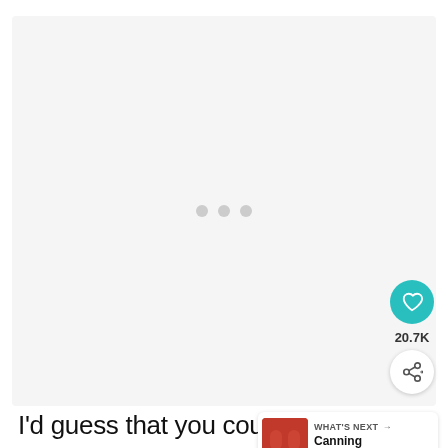[Figure (other): Large image placeholder area with light gray background and three gray loading dots in the center. Contains a teal heart/like button (20.7K likes) and a white share button on the right side.]
I'd guess that you could also ju few tablespoons of maple syrup for the